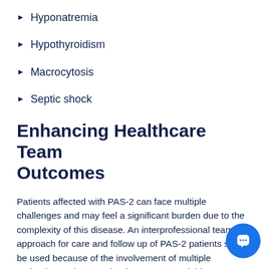Hyponatremia
Hypothyroidism
Macrocytosis
Septic shock
Enhancing Healthcare Team Outcomes
Patients affected with PAS-2 can face multiple challenges and may feel a significant burden due to the complexity of this disease. An interprofessional team approach for care and follow up of PAS-2 patients should be used because of the involvement of multiple endocrine and non-endocrine organs, and this team should be led by an endocrinologist. Interprofessional communications between different physicians taking care of the PAS-2 patient can be